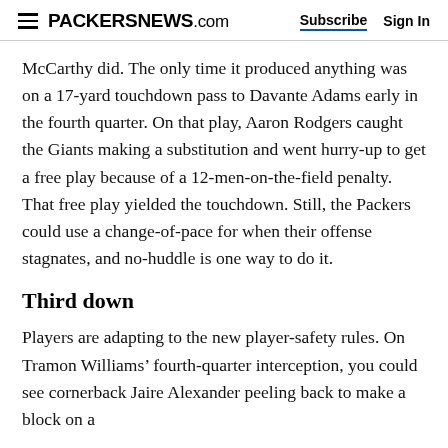PACKERSNEWS.com  Subscribe  Sign In
McCarthy did. The only time it produced anything was on a 17-yard touchdown pass to Davante Adams early in the fourth quarter. On that play, Aaron Rodgers caught the Giants making a substitution and went hurry-up to get a free play because of a 12-men-on-the-field penalty. That free play yielded the touchdown. Still, the Packers could use a change-of-pace for when their offense stagnates, and no-huddle is one way to do it.
Third down
Players are adapting to the new player-safety rules. On Tramon Williams’ fourth-quarter interception, you could see cornerback Jaire Alexander peeling back to make a block on a